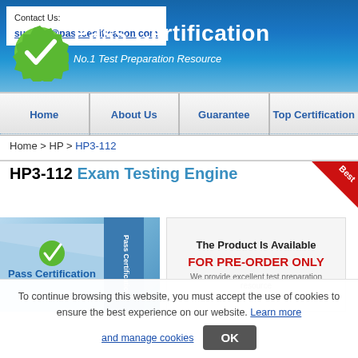Contact Us: support@passcertification.com
Pass Certification - No.1 Test Preparation Resource
Home | About Us | Guarantee | Top Certification
Home > HP > HP3-112
HP3-112 Exam Testing Engine
[Figure (logo): Pass Certification product box image with blue cover]
The Product Is Available FOR PRE-ORDER ONLY
To continue browsing this website, you must accept the use of cookies to ensure the best experience on our website. Learn more and manage cookies OK